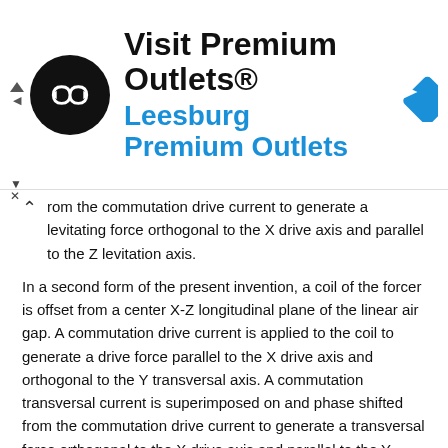[Figure (other): Advertisement banner for Visit Premium Outlets® – Leesburg Premium Outlets, with circular logo and blue navigation diamond icon]
from the commutation drive current to generate a levitating force orthogonal to the X drive axis and parallel to the Z levitation axis.
In a second form of the present invention, a coil of the forcer is offset from a center X-Z longitudinal plane of the linear air gap. A commutation drive current is applied to the coil to generate a drive force parallel to the X drive axis and orthogonal to the Y transversal axis. A commutation transversal current is superimposed on and phase shifted from the commutation drive current to generate a transversal force orthogonal to the X drive axis and parallel to the Y transversal axis.
In a third form of the present invention, a commutation drive current is applied to a coil of the forcer to generate a drive force parallel to the X drive axis. The forcer is orientated with the linear air gap to generate a force orthogonal to the X drive axis in response to an additional commutation coil current being superimposed on and phase shifted from the commutation drive current.
The foregoing forms and other forms of the present invention as well as various features and advantages of the present invention will become